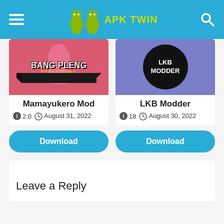APK TWIN
[Figure (screenshot): Mamayukero Mod app thumbnail - pink/red background with Bang Pleng Mamayukero branding]
[Figure (screenshot): LKB Modder app thumbnail - purple background with black circle showing LKB MODDER text]
Mamayukero Mod
LKB Modder
2.0  August 31, 2022
18  August 30, 2022
Download
Download
Leave a Reply